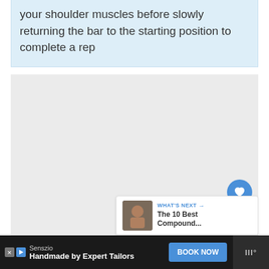your shoulder muscles before slowly returning the bar to the starting position to complete a rep
[Figure (other): Large gray image placeholder area with social interaction buttons (heart/like button with count of 1, share button) on the right side, and a 'What's Next' card in the bottom right showing a thumbnail of a muscular person with text 'The 10 Best Compound...']
WHAT'S NEXT → The 10 Best Compound...
Senszio
Handmade by Expert Tailors
BOOK NOW